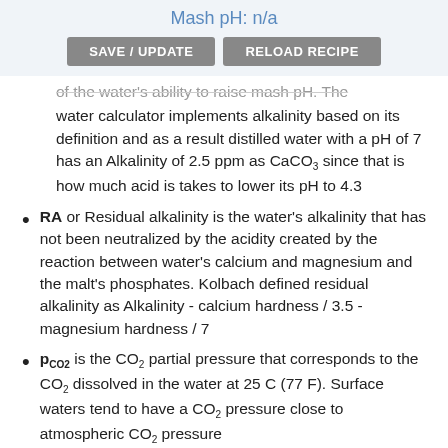Mash pH: n/a
of the water's ability to raise mash pH. The water calculator implements alkalinity based on its definition and as a result distilled water with a pH of 7 has an Alkalinity of 2.5 ppm as CaCO3 since that is how much acid is takes to lower its pH to 4.3
RA or Residual alkalinity is the water's alkalinity that has not been neutralized by the acidity created by the reaction between water's calcium and magnesium and the malt's phosphates. Kolbach defined residual alkalinity as Alkalinity - calcium hardness / 3.5 - magnesium hardness / 7
pCO2 is the CO2 partial pressure that corresponds to the CO2 dissolved in the water at 25 C (77 F). Surface waters tend to have a CO2 pressure close to atmospheric CO2 pressure